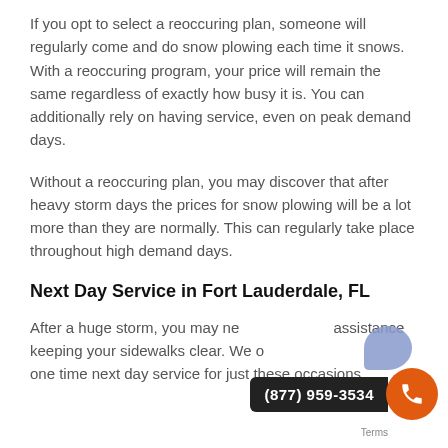If you opt to select a reoccuring plan, someone will regularly come and do snow plowing each time it snows. With a reoccuring program, your price will remain the same regardless of exactly how busy it is. You can additionally rely on having service, even on peak demand days.
Without a reoccuring plan, you may discover that after heavy storm days the prices for snow plowing will be a lot more than they are normally. This can regularly take place throughout high demand days.
Next Day Service in Fort Lauderdale, FL
After a huge storm, you may need immediate assistance keeping your sidewalks clear. We offer one time next day service for just these occasions